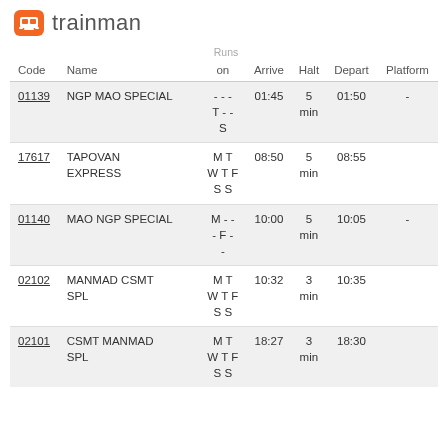[Figure (logo): Trainman logo with orange train icon and 'trainman' text]
| Code | Name | Runs on | Arrive | Halt | Depart | Platform |
| --- | --- | --- | --- | --- | --- | --- |
| 01139 | NGP MAO SPECIAL | - - -
T - -
S | 01:45 | 5 min | 01:50 | - |
| 17617 | TAPOVAN EXPRESS | M T
W T F
S S | 08:50 | 5 min | 08:55 |  |
| 01140 | MAO NGP SPECIAL | M - -
- F -
- | 10:00 | 5 min | 10:05 | - |
| 02102 | MANMAD CSMT SPL | M T
W T F
S S | 10:32 | 3 min | 10:35 |  |
| 02101 | CSMT MANMAD SPL | M T
W T F
S S | 18:27 | 3 min | 18:30 |  |